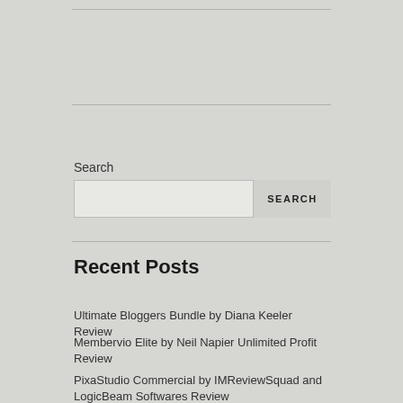Search
SEARCH
Recent Posts
Ultimate Bloggers Bundle by Diana Keeler Review
Membervio Elite by Neil Napier Unlimited Profit Review
PixaStudio Commercial by IMReviewSquad and LogicBeam Softwares Review